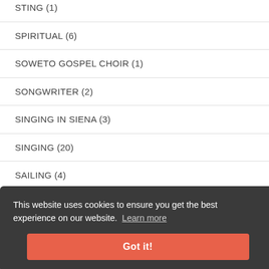STING (1)
SPIRITUAL (6)
SOWETO GOSPEL CHOIR (1)
SONGWRITER (2)
SINGING IN SIENA (3)
SINGING (20)
SAILING (4)
This website uses cookies to ensure you get the best experience on our website. Learn more
RACHEL HORE (2)